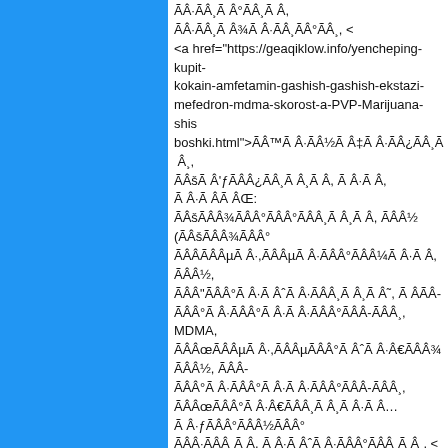ÃÂ·ÃÂ¸Ã Â°ÃÂ, ÃÂ·ÃÂ¸Ã¾Ã Â·ÃÂ¸ÃÂ°ÃÂ¸,< <a href="https://geaqiklow.info/yencheping-kupit-kokain-amfetamin-gashish-gashish-ekstazi-mefedron-mdma-skorost-a-PVP-Marijuana-shishki-boshki.html">ÃÂ™Ã Â·ÃÂ½Ã Â‡Ã Â·ÃÂ¿ÃÂ¸ÃÂšÃ Â'ƒÃÂÂ¿ÃÂ¸Ã Â·Ã Â· Ã ÂÃ Â, Ã ÂˆÃÂœÃÂ° Ã Â·Ã Â°ÃÂ¸Ã Â·ÃÂ¸ÃÂ°ÃÂ, Ã Â·ÃÂ ÃÂ°Ã Â·Ã Â°ÃÂ¸Ã Â· MDMA, ÃÂœÃÂÂµÃ Â·,ÃÂÂµÃÂ° Â· Â·€ÃÂÂ¾ÃÂÂ½, ÃÂÃ Â·ÃÂ°Ã Â· Â·Ã Â°Ã Â·ÃÂ¸Ã Â°ÃÂ Â·ÃÂ¿ÃÂ¸Ã Â°ÃÂ,Ã Â·Ã Â…Ã Â¥ÃÂƒÃÂ°ÃÂÂ½ÃÂ°Ã Â· Â¸Ã Â¥ÃÂ° Â· Â· Â·ÃÂ°ÃÂ¸ ÃÂÃ Â· ÃÂ¾Ã ÂˆÂ·ÃÂ°ÃÂ¸,<
<a href="https://aslpominion.info/eylat-kupit-kokain-amfetamin-gashish-gashish-ekstazi-mefedron-mdma-skorost-a-PVP-Marijuana-shishki-boshki.html">ÃÂÃÂÂÂÂÂÂÂÂÂˆÂ¹ÃÂÂ»ÃÂÂ°Ã Â·Ã Â,Ã ÂšÃ Â'ƒÃÂÂ¿ÃÂ¸Ã Â·Ã Â·Ã ÂÃ Â: ÃÂÂšÃÂÂ¾ÃÂÂ°ÃÂÂ°ÃÂÂ¸Ã Â·ÃÂÂ½ (ÃÂÂšÃÂÂ¾ÃÂ°ÃÂ¸ÃÂÂÃÂÂµÃ Â·,ÃÂÂµÃ Â·ÃÂÂ°ÃÂÂ¼ÃÂÂ¸Ã Â·ÃÂÂ½,ÃÂÂ·Ã Â·ÂˆÃÂÂ°Ã Â·Ã ÂˆÂ·ÃÂÂ¸Ã Â·Ã ÂˆÂ·, ÃÂÂ-ÃÂÂ°Ã Â·ÃÂÂ°Ã Â·Ã Â·ÃÂÂ°ÃÂÂ-ÃÂÂ¸, MDMA,ÃÂÂœÃÂÂµÃ Â·,ÃÂÂµÃÂÂ° Â· Â·€ÃÂÂ¾ÃÂÂ½, ÃÂÂ-ÃÂÂ°Ã Â·ÃÂÂ°Ã Â·Ã Â·ÃÂÂ°ÃÂÂ-ÃÂÂ¸,